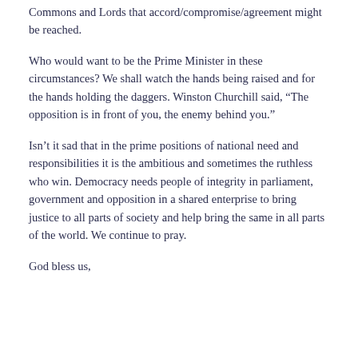Commons and Lords that accord/compromise/agreement might be reached.
Who would want to be the Prime Minister in these circumstances? We shall watch the hands being raised and for the hands holding the daggers. Winston Churchill said, “The opposition is in front of you, the enemy behind you.”
Isn’t it sad that in the prime positions of national need and responsibilities it is the ambitious and sometimes the ruthless who win. Democracy needs people of integrity in parliament, government and opposition in a shared enterprise to bring justice to all parts of society and help bring the same in all parts of the world. We continue to pray.
God bless us,